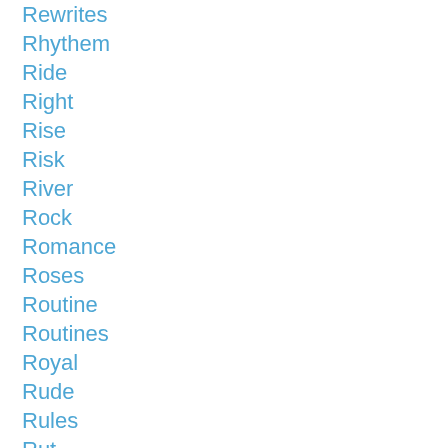Rewrites
Rhythem
Ride
Right
Rise
Risk
River
Rock
Romance
Roses
Routine
Routines
Royal
Rude
Rules
Rut
Sacred
Sacrifice
Sad
Safe
Sale